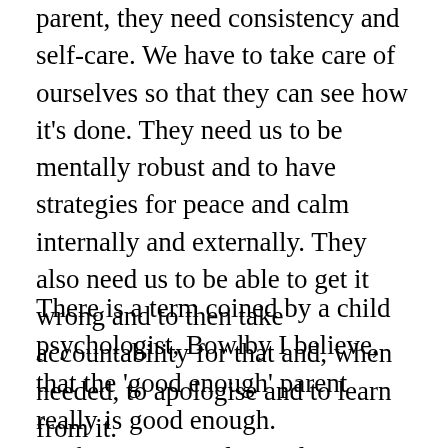parent, they need consistency and self-care. We have to take care of ourselves so that they can see how it's done. They need us to be mentally robust and to have strategies for peace and calm internally and externally. They also need us to be able to get it wrong and to then take accountability for that and, when needed, to apologise and to learn from it.
There is a term coined by a child psychologist, Bowlby I believe, that the 'good enough' parent really is good enough. Perfectionism and unrealistic expectation has no place in family life. We muddle through and mess it up, and then get up and try again. And again. The most important thing to do is to love: both the kids and ourselves! I am close to my adult kids